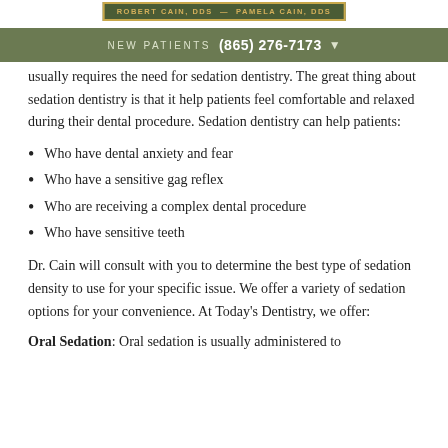[Figure (logo): Dental practice logo bar with text: ROBERT CAIN, DDS — PAMELA CAIN, DDS on olive/gold bordered background]
NEW PATIENTS  (865) 276-7173
usually requires the need for sedation dentistry. The great thing about sedation dentistry is that it help patients feel comfortable and relaxed during their dental procedure. Sedation dentistry can help patients:
Who have dental anxiety and fear
Who have a sensitive gag reflex
Who are receiving a complex dental procedure
Who have sensitive teeth
Dr. Cain will consult with you to determine the best type of sedation density to use for your specific issue. We offer a variety of sedation options for your convenience. At Today's Dentistry, we offer:
Oral Sedation: Oral sedation is usually administered to